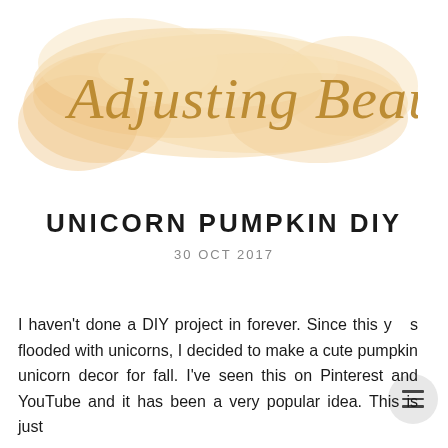[Figure (logo): Adjusting Beauty blog logo: watercolor peach/gold floral wash background with cursive script text 'Adjusting Beauty' in gold]
UNICORN PUMPKIN DIY
30 OCT 2017
I haven't done a DIY project in forever. Since this year is flooded with unicorns, I decided to make a cute pumpkin unicorn decor for fall. I've seen this on Pinterest and YouTube and it has been a very popular idea. This is just